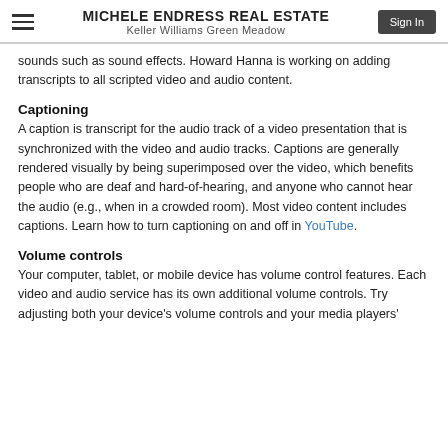MICHELE ENDRESS REAL ESTATE
Keller Williams Green Meadow
sounds such as sound effects. Howard Hanna is working on adding transcripts to all scripted video and audio content.
Captioning
A caption is transcript for the audio track of a video presentation that is synchronized with the video and audio tracks. Captions are generally rendered visually by being superimposed over the video, which benefits people who are deaf and hard-of-hearing, and anyone who cannot hear the audio (e.g., when in a crowded room). Most video content includes captions. Learn how to turn captioning on and off in YouTube.
Volume controls
Your computer, tablet, or mobile device has volume control features. Each video and audio service has its own additional volume controls. Try adjusting both your device's volume controls and your media players'